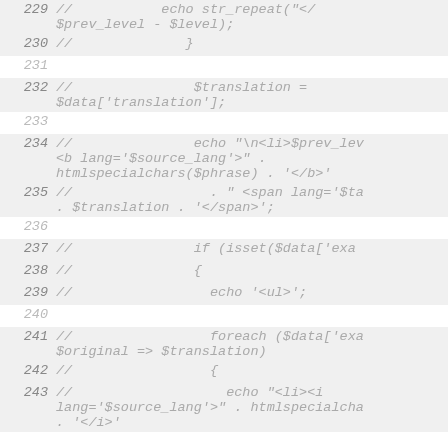229 // echo str_repeat("</ $prev_level - $level);
230 // }
231
232 // $translation = $data['translation'];
233
234 // echo "\n<li>$prev_lev <b lang='$source_lang'>" . htmlspecialchars($phrase) . '</b>'
235 // . " <span lang='$ta . $translation . '</span>';
236
237 // if (isset($data['exa
238 // {
239 // echo '<ul>';
240
241 // foreach ($data['exa $original => $translation)
242 // {
243 // echo "<li><i lang='$source_lang'>" . htmlspecialcha . '</i>'